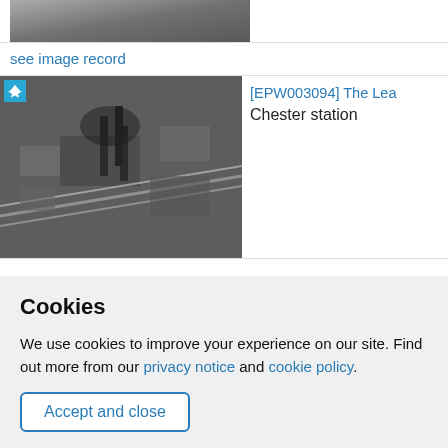[Figure (photo): Aerial black and white photograph, partially visible at top of page]
see image record
[Figure (photo): Aerial black and white photograph of industrial area with chimneys, railway lines and urban landscape. Has airplane icon overlay in top left.]
[EPW003094] The Lea Chester station
Cookies
We use cookies to improve your experience on our site. Find out more from our privacy notice and cookie policy.
Accept and close